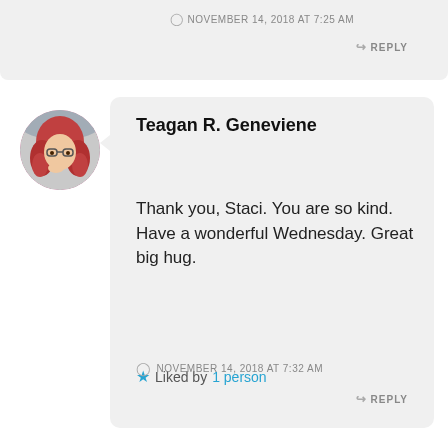NOVEMBER 14, 2018 AT 7:25 AM
REPLY
[Figure (photo): Circular avatar photo of a woman with red wavy hair and glasses]
Teagan R. Geneviene
Thank you, Staci. You are so kind. Have a wonderful Wednesday. Great big hug.
Liked by 1 person
NOVEMBER 14, 2018 AT 7:32 AM
REPLY